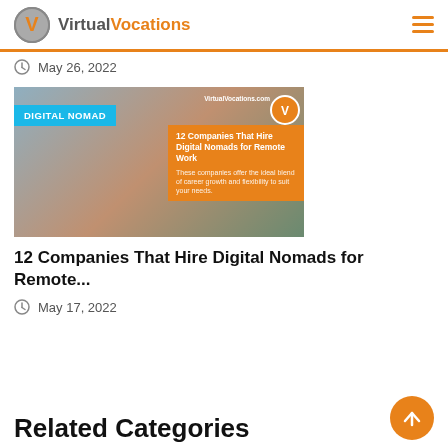Virtual Vocations
May 26, 2022
[Figure (photo): Woman typing on laptop outdoors with Digital Nomad badge, VirtualVocations.com logo, and orange card reading '12 Companies That Hire Digital Nomads for Remote Work']
12 Companies That Hire Digital Nomads for Remote...
May 17, 2022
Related Categories